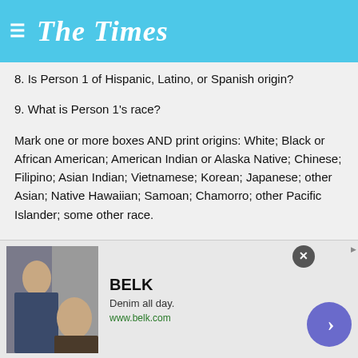The Times
8. Is Person 1 of Hispanic, Latino, or Spanish origin?
9. What is Person 1's race?
Mark one or more boxes AND print origins: White; Black or African American; American Indian or Alaska Native; Chinese; Filipino; Asian Indian; Vietnamese; Korean; Japanese; other Asian; Native Hawaiian; Samoan; Chamorro; other Pacific Islander; some other race.
10. Print name of Person 2.
11. Does this person usually live or stay somewhere else?